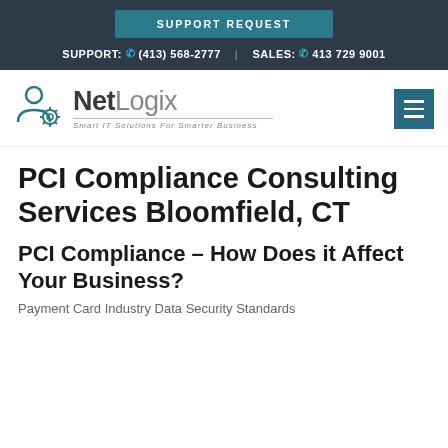SUPPORT REQUEST
SUPPORT: (413) 568-2777 | SALES: 413 729 9001
[Figure (logo): NetLogix logo with person/gear icon and tagline 'Smart IT Solutions For Smarter Business']
PCI Compliance Consulting Services Bloomfield, CT
PCI Compliance – How Does it Affect Your Business?
Payment Card Industry Data Security Standards